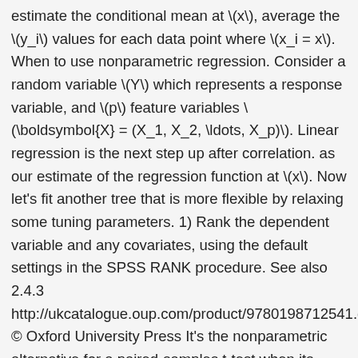estimate the conditional mean at \(x\), average the \(y_i\) values for each data point where \(x_i = x\). When to use nonparametric regression. Consider a random variable \(Y\) which represents a response variable, and \(p\) feature variables \(\boldsymbol{X} = (X_1, X_2, \ldots, X_p)\). Linear regression is the next step up after correlation. as our estimate of the regression function at \(x\). Now let's fit another tree that is more flexible by relaxing some tuning parameters. 1) Rank the dependent variable and any covariates, using the default settings in the SPSS RANK procedure. See also 2.4.3 http://ukcatalogue.oup.com/product/9780198712541.do © Oxford University Press It's the nonparametric alternative for a paired-samples t-test when its assumptions aren't met. Large differences in the average \(y_i\) between the two neighborhoods. Learn about the new nonparametric series regression command. SPSS Kruskal-Wallis test is a nonparametric alternative for a one-way ANOVA. SPSS Friedman test compares the means of 3 or more variables measured on the same respondents. Like so, it is a nonparametric alternative for a repeated-measures ANOVA that's